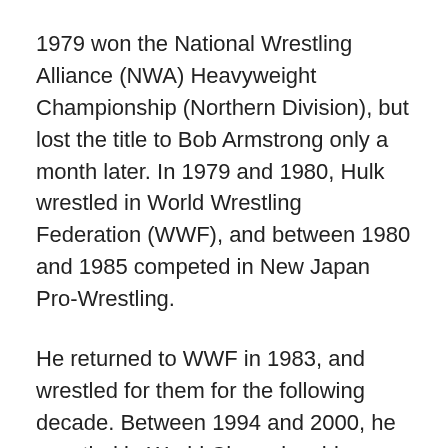1979 won the National Wrestling Alliance (NWA) Heavyweight Championship (Northern Division), but lost the title to Bob Armstrong only a month later. In 1979 and 1980, Hulk wrestled in World Wrestling Federation (WWF), and between 1980 and 1985 competed in New Japan Pro-Wrestling.
He returned to WWF in 1983, and wrestled for them for the following decade. Between 1994 and 2000, he wrestled in World Championship Wrestling and was the World Heavyweight Champion between 1994 and 1996.